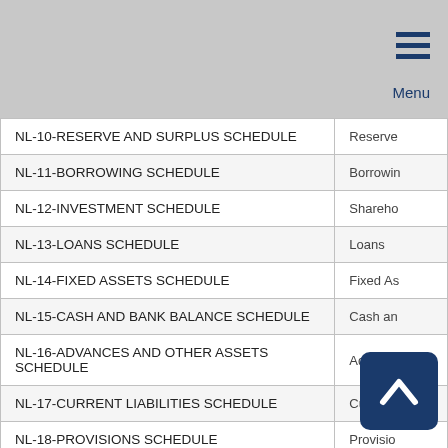Menu
| Schedule Name | Description |
| --- | --- |
| NL-10-RESERVE AND SURPLUS SCHEDULE | Reserve |
| NL-11-BORROWING SCHEDULE | Borrowin |
| NL-12-INVESTMENT SCHEDULE | Shareho |
| NL-13-LOANS SCHEDULE | Loans |
| NL-14-FIXED ASSETS SCHEDULE | Fixed As |
| NL-15-CASH AND BANK BALANCE SCHEDULE | Cash an |
| NL-16-ADVANCES AND OTHER ASSETS SCHEDULE | Advance |
| NL-17-CURRENT LIABILITIES SCHEDULE | Current L |
| NL-18-PROVISIONS SCHEDULE | Provisio |
| NL-19-MISC EXPENDITURE SCHEDULE | M |
| NL-20-RECEIPTS AND PAYMENT SCHEDULE | Receipts |